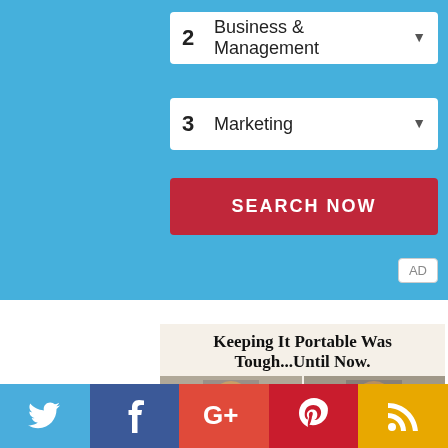[Figure (screenshot): UI form with two dropdowns: '2 Business & Management' and '3 Marketing', and a red 'SEARCH NOW' button, on a blue background]
AD
[Figure (photo): Advertisement image with headline 'Keeping It Portable Was Tough...Until Now.' and two side-by-side photos of a child]
[Figure (infographic): Social sharing bar with Twitter, Facebook, Google+, Pinterest, and RSS icons]